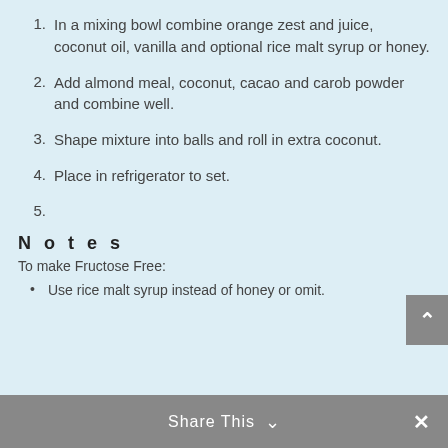1. In a mixing bowl combine orange zest and juice, coconut oil, vanilla and optional rice malt syrup or honey.
2. Add almond meal, coconut, cacao and carob powder and combine well.
3. Shape mixture into balls and roll in extra coconut.
4. Place in refrigerator to set.
5.
Notes
To make Fructose Free:
Use rice malt syrup instead of honey or omit.
Share This ∨  ✕